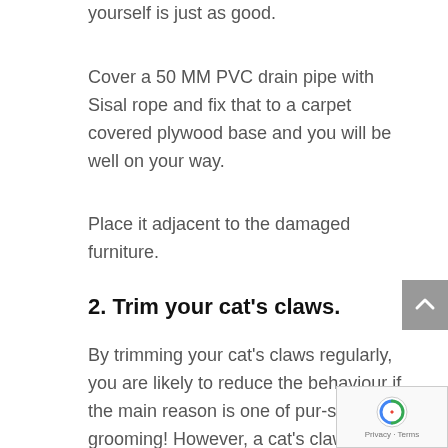yourself is just as good.
Cover a 50 MM PVC drain pipe with Sisal rope and fix that to a carpet covered plywood base and you will be well on your way.
Place it adjacent to the damaged furniture.
2. Trim your cat's claws.
By trimming your cat's claws regularly, you are likely to reduce the behaviour if the main reason is one of pur-sonal grooming! However, a cat's claws become sharp again very quickly so weekly trimming is needed.